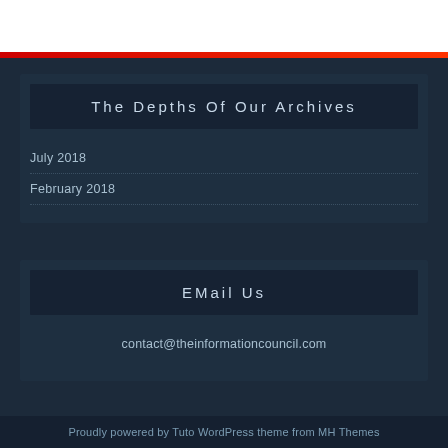The Depths Of Our Archives
July 2018
February 2018
EMail Us
contact@theinformationcouncil.com
Proudly powered by Tuto WordPress theme from MH Themes